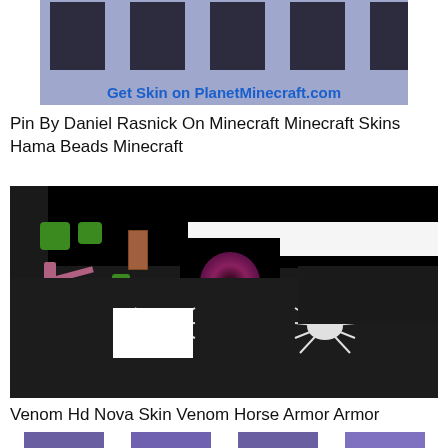[Figure (screenshot): Minecraft character skin strip on a light blue/purple background with text 'Get Skin on PlanetMinecraft.com' in blue bold at the bottom]
Pin By Daniel Rasnick On Minecraft Minecraft Skins Hama Beads Minecraft
[Figure (screenshot): Composite image showing Venom-themed Minecraft skins and horse armor laid out as skin textures against dark background, with white spider symbols and sharp-toothed mouth design]
Venom Hd Nova Skin Venom Horse Armor Armor
[Figure (screenshot): Bottom strip showing purple/violet colored Minecraft skin or armor pieces on white background]